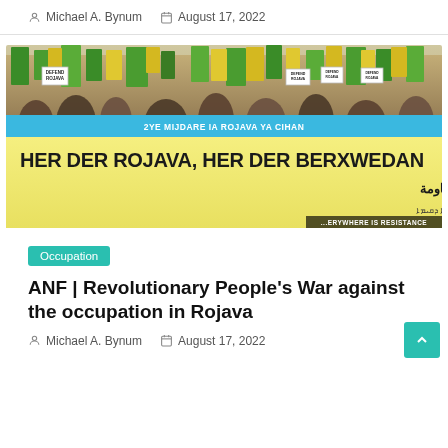Michael A. Bynum   August 17, 2022
[Figure (photo): Protest march with people holding green and yellow flags and signs reading 'Defend Rojava' and a large banner reading 'HER DER ROJAVA, HER DER BERXWEDAN' in Kurdish, Arabic, and Syriac, with a blue banner reading '2YE MIJDARE ... IA ROJAVA YA CIHAN']
Occupation
ANF | Revolutionary People's War against the occupation in Rojava
Michael A. Bynum   August 17, 2022